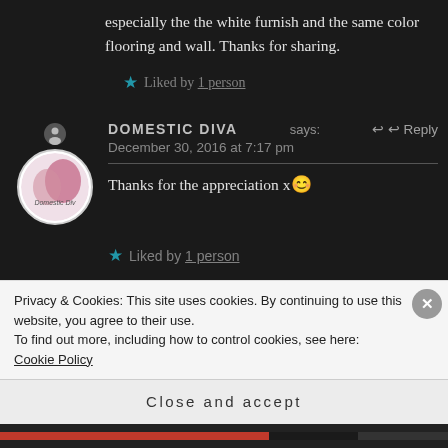especially the the white furnish and the same color flooring and wall. Thanks for sharing.
Liked by 1 person
DOMESTIC DIVA says:
December 30, 2016 at 7:17 pm
Thanks for the appreciation x😊
Liked by 1 person
Privacy & Cookies: This site uses cookies. By continuing to use this website, you agree to their use.
To find out more, including how to control cookies, see here: Cookie Policy
Close and accept